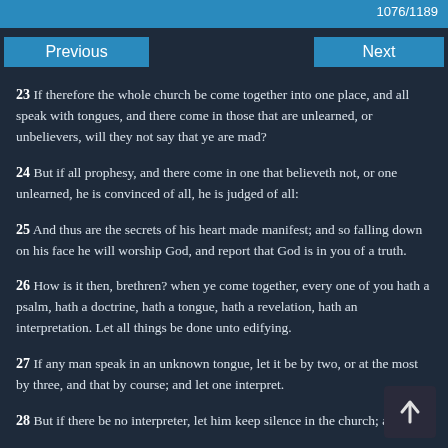1076/1189
Previous    Next
23 If therefore the whole church be come together into one place, and all speak with tongues, and there come in those that are unlearned, or unbelievers, will they not say that ye are mad?
24 But if all prophesy, and there come in one that believeth not, or one unlearned, he is convinced of all, he is judged of all:
25 And thus are the secrets of his heart made manifest; and so falling down on his face he will worship God, and report that God is in you of a truth.
26 How is it then, brethren? when ye come together, every one of you hath a psalm, hath a doctrine, hath a tongue, hath a revelation, hath an interpretation. Let all things be done unto edifying.
27 If any man speak in an unknown tongue, let it be by two, or at the most by three, and that by course; and let one interpret.
28 But if there be no interpreter, let him keep silence in the church; and let